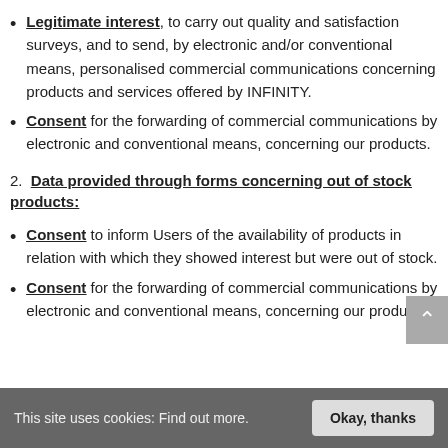Legitimate interest, to carry out quality and satisfaction surveys, and to send, by electronic and/or conventional means, personalised commercial communications concerning products and services offered by INFINITY.
Consent for the forwarding of commercial communications by electronic and conventional means, concerning our products.
2. Data provided through forms concerning out of stock products:
Consent to inform Users of the availability of products in relation with which they showed interest but were out of stock.
Consent for the forwarding of commercial communications by electronic and conventional means, concerning our products.
This site uses cookies: Find out more.